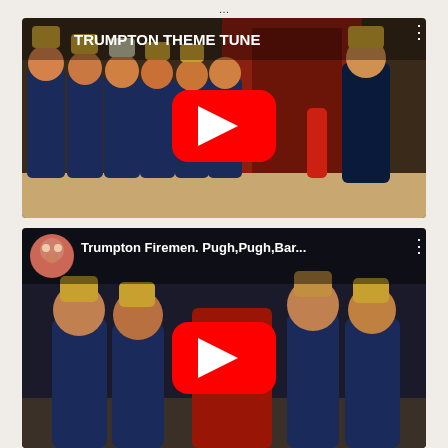...
[Figure (screenshot): YouTube video thumbnail for 'TRUMPTON THEME TUNE' showing Trumpton puppet firemen characters in blue uniforms lined up outside a fire station. A YouTube play button is overlaid in the center.]
[Figure (screenshot): YouTube video thumbnail for 'Trumpton Firemen. Pugh,Pugh,Bar...' showing Trumpton puppet firemen characters. A channel icon (bear puppet face) and video title bar are shown at top, with a YouTube play button overlaid in the center.]